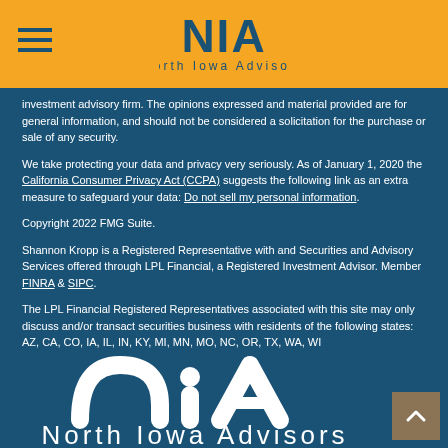[Figure (logo): NIA North Iowa Advisors logo in header on orange background]
investment advisory firm. The opinions expressed and material provided are for general information, and should not be considered a solicitation for the purchase or sale of any security.
We take protecting your data and privacy very seriously. As of January 1, 2020 the California Consumer Privacy Act (CCPA) suggests the following link as an extra measure to safeguard your data: Do not sell my personal information.
Copyright 2022 FMG Suite.
Shannon Kropp is a Registered Representative with and Securities and Advisory Services offered through LPL Financial, a Registered Investment Advisor. Member FINRA & SIPC.
The LPL Financial Registered Representatives associated with this site may only discuss and/or transact securities business with residents of the following states: AZ, CA, CO, IA, IL, IN, KY, MI, MN, MO, NC, OR, TX, WA, WI
[Figure (logo): NIA North Iowa Advisors white logo at bottom on blue background]